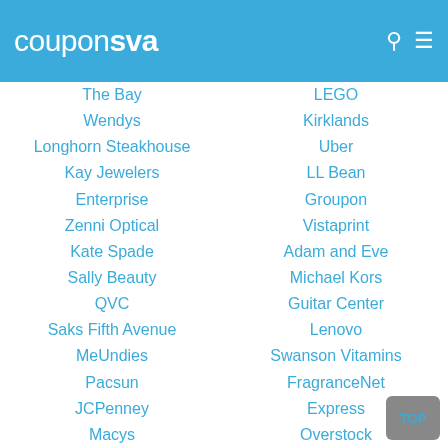couponsva
The Bay
LEGO
Wendys
Kirklands
Longhorn Steakhouse
Uber
Kay Jewelers
LL Bean
Enterprise
Groupon
Zenni Optical
Vistaprint
Kate Spade
Adam and Eve
Sally Beauty
Michael Kors
QVC
Guitar Center
Saks Fifth Avenue
Lenovo
MeUndies
Swanson Vitamins
Pacsun
FragranceNet
JCPenney
Express
Macys
Overstock